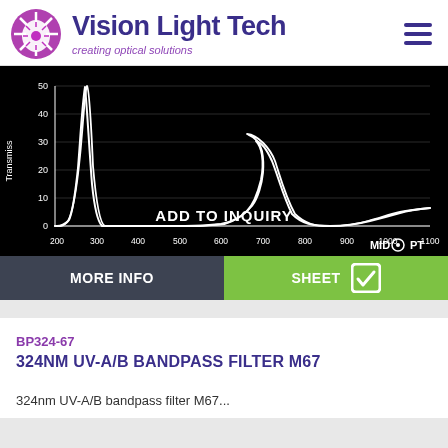Vision Light Tech — creating optical solutions
[Figure (continuous-plot): Transmission spectrum chart on black background showing UV bandpass filter response. Y-axis: Transmiss (0-50%), X-axis: wavelength 200-1100nm. Curve shows sharp transmission peak near 260nm reaching ~50%, drops to near zero, then shows a broad hump around 700nm (~22%) and rises again toward 1100nm (~12%). MidOpt logo in bottom right, ADD TO INQUIRY overlay text.]
MORE INFO
SHEET
BP324-67
324NM UV-A/B BANDPASS FILTER M67
324nm UV-A/B bandpass filter M67...